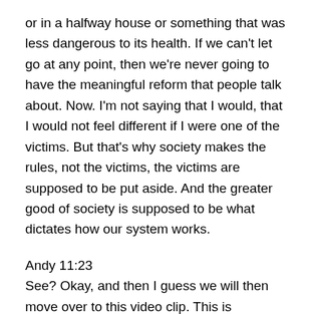or in a halfway house or something that was less dangerous to its health. If we can't let go at any point, then we're never going to have the meaningful reform that people talk about. Now. I'm not saying that I would, that I would not feel different if I were one of the victims. But that's why society makes the rules, not the victims, the victims are supposed to be put aside. And the greater good of society is supposed to be what dictates how our system works.
Andy 11:23
See? Okay, and then I guess we will then move over to this video clip. This is spectacular. Do you want to set it up real quick?